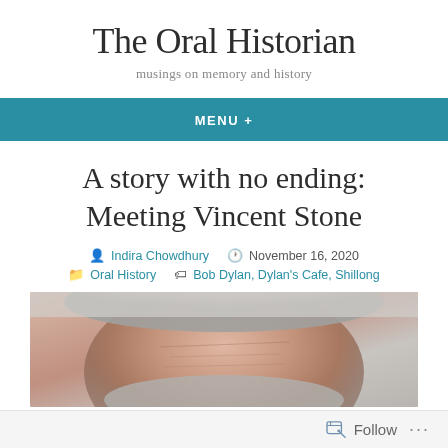The Oral Historian
musings on memory and history
MENU +
A story with no ending: Meeting Vincent Stone
Indira Chowdhury   November 16, 2020
Oral History   Bob Dylan, Dylan's Cafe, Shillong
[Figure (photo): Close-up photograph of an elderly person's face, showing wrinkled skin and white/grey hair]
Follow ...